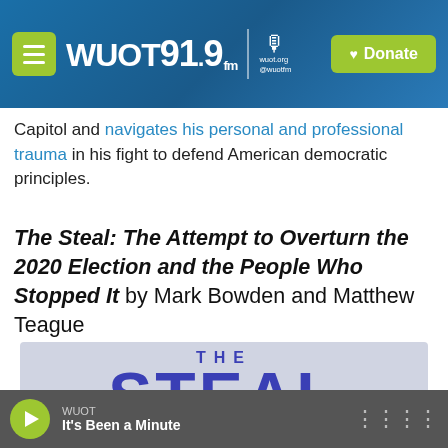WUOT 91.9 FM | wuot.org @wuotfm | Donate
Capitol and navigates his personal and professional trauma in his fight to defend American democratic principles.
The Steal: The Attempt to Overturn the 2020 Election and the People Who Stopped It by Mark Bowden and Matthew Teague
[Figure (photo): Book cover showing 'THE STEAL' text in large bold purple letters on a light blue/gray background]
WUOT | It's Been a Minute